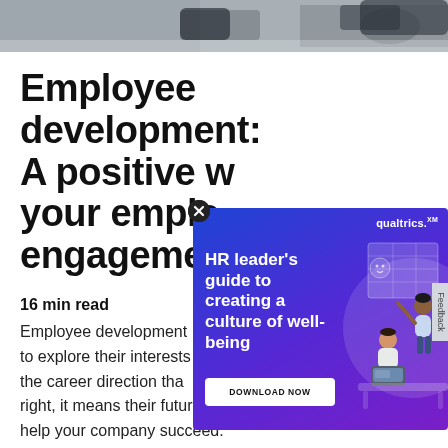[Figure (photo): Top partial photo strip showing a desk/workspace scene, cropped at top of page]
Employee development: A positive way your employees' engagement
16 min read
Employee development to explore their interests the career direction that right, it means their future successes can directly help your company succeed.
[Figure (screenshot): Qualtrics advertisement overlay: HR leader's guide to creating a culture of well-being. DOWNLOAD NOW button. Shows illustration of people at a desk/whiteboard.]